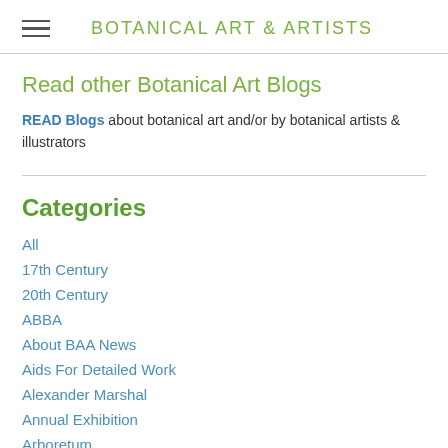BOTANICAL ART & ARTISTS
Read other Botanical Art Blogs
READ Blogs about botanical art and/or by botanical artists & illustrators
Categories
All
17th Century
20th Century
ABBA
About BAA News
Aids For Detailed Work
Alexander Marshal
Annual Exhibition
Arboretum